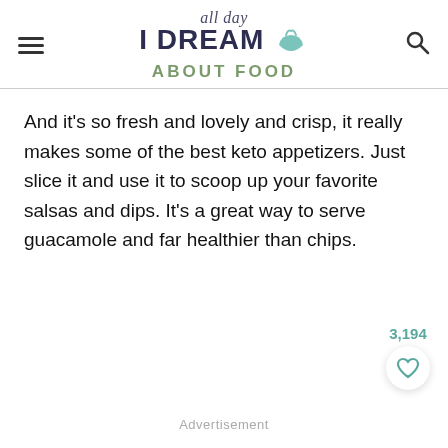all day I DREAM ABOUT FOOD
And it’s so fresh and lovely and crisp, it really makes some of the best keto appetizers. Just slice it and use it to scoop up your favorite salsas and dips. It’s a great way to serve guacamole and far healthier than chips.
3,194
Advertisement